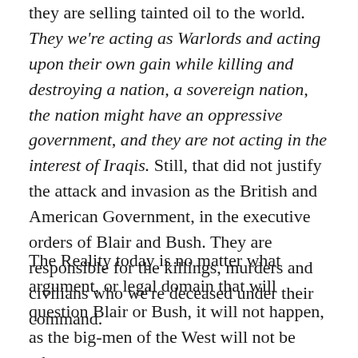they are selling tainted oil to the world. They we're acting as Warlords and acting upon their own gain while killing and destroying a nation, a sovereign nation, the nation might have an oppressive government, and they are not acting in the interest of Iraqis. Still, that did not justify the attack and invasion as the British and American Government, in the executive orders of Blair and Bush. They are responsible for the killings, murders and civilians who we're deceased under their command.
The Reality today is no matter what argument, or legal domain that will question Blair or Bush, it will not happen, as the big-men of the West will not be taken to court, as